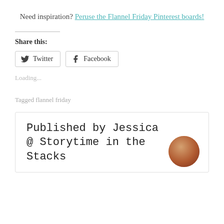Need inspiration? Peruse the Flannel Friday Pinterest boards!
Share this:
Twitter  Facebook
Loading...
Tagged flannel friday
Published by Jessica @ Storytime in the Stacks